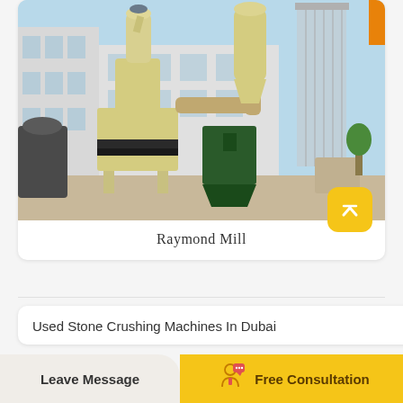[Figure (photo): Industrial Raymond Mill grinding machine setup in a factory yard, showing large yellow cylindrical grinder with cyclone separator, connected pipes and conveyors, and a green hopper. Various other industrial machines visible in the background against a factory building.]
Raymond Mill
Used Stone Crushing Machines In Dubai